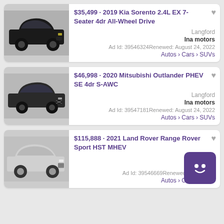[Figure (photo): Black 2019 Kia Sorento SUV front 3/4 view on grey background]
$35,499 · 2019 Kia Sorento 2.4L EX 7-Seater 4dr All-Wheel Drive
Langford
Ina motors
Ad Id: 39546324Renewed: August 24, 2022
Autos › Cars › SUVs
[Figure (photo): Dark grey 2020 Mitsubishi Outlander PHEV SUV front view on grey background]
$46,998 · 2020 Mitsubishi Outlander PHEV SE 4dr S-AWC
Langford
Ina motors
Ad Id: 39547181Renewed: August 24, 2022
Autos › Cars › SUVs
[Figure (photo): Silver 2021 Land Rover Range Rover Sport HST MHEV front 3/4 view on grey background]
$115,888 · 2021 Land Rover Range Rover Sport HST MHEV
Langford
Ina motors
Ad Id: 39546669Renewed: August 24,
Autos › Cars › SUVs